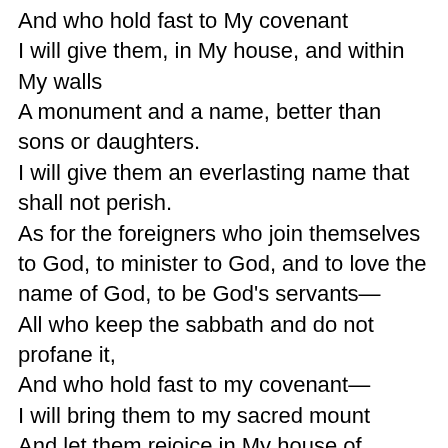And who hold fast to My covenant
I will give them, in My house, and within My walls
A monument and a name, better than sons or daughters.
I will give them an everlasting name that shall not perish.
As for the foreigners who join themselves to God, to minister to God, and to love the name of God, to be God's servants—
All who keep the sabbath and do not profane it,
And who hold fast to my covenant—
I will bring them to my sacred mount
And let them rejoice in My house of prayer.
Their burnt offerings and sacrifices shall be welcome
on My altar;
For My house shall be called a house of prayer for